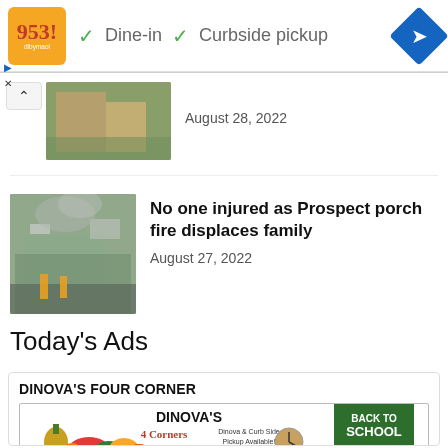[Figure (screenshot): Advertisement banner with orange logo, checkmarks for Dine-in and Curbside pickup options, and a blue navigation arrow icon]
[Figure (photo): Partially visible thumbnail of people outdoors]
August 28, 2022
[Figure (photo): Firefighters battling a house porch fire with smoke visible]
No one injured as Prospect porch fire displaces family
August 27, 2022
Today's Ads
DINOVA'S FOUR CORNER
[Figure (illustration): Dinova's 4 Corners Grocery Store advertisement banner with fruits, vegetables, and Back to School specials Aug 28-Sept 3]